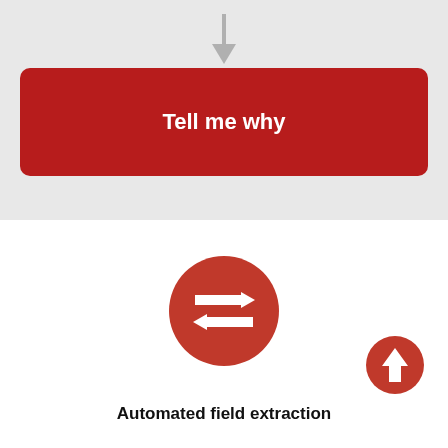[Figure (flowchart): Down arrow connector in grey, followed by a large red rounded rectangle button labeled 'Tell me why']
[Figure (illustration): Red circle icon with two horizontal bidirectional arrows (transfer/exchange symbol) centered on white background, with a smaller red circle with upward arrow in bottom right]
Automated field extraction